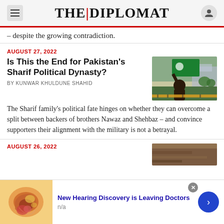THE DIPLOMAT
– despite the growing contradiction.
AUGUST 27, 2022
Is This the End for Pakistan's Sharif Political Dynasty?
By KUNWAR KHULDUNE SHAHID
The Sharif family's political fate hinges on whether they can overcome a split between backers of brothers Nawaz and Shehbaz – and convince supporters their alignment with the military is not a betrayal.
AUGUST 26, 2022
New Hearing Discovery is Leaving Doctors
n/a